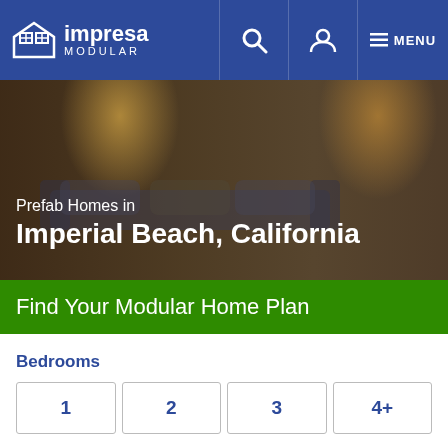[Figure (logo): Impresa Modular logo with house icon on blue navbar]
[Figure (photo): Interior living room photo with lamps and sofa, used as hero background]
Prefab Homes in Imperial Beach, California
Find Your Modular Home Plan
Bedrooms
1  2  3  4+
Bathrooms
1  2  3  4+
Categories
Ranch
Two Story